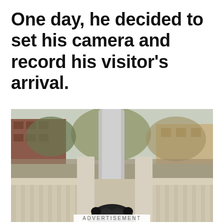One day, he decided to set his camera and record his visitor's arrival.
[Figure (photo): A photograph taken from a porch or deck showing white wooden railing balusters in the foreground, a large tree trunk in the center background, residential brick buildings visible in the background amid autumn foliage, and the top of a black bear's head visible at the bottom center of the frame, apparently approaching the porch.]
ADVERTISEMENT